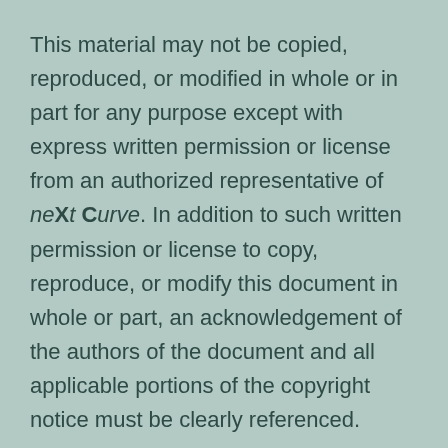This material may not be copied, reproduced, or modified in whole or in part for any purpose except with express written permission or license from an authorized representative of neXt Curve. In addition to such written permission or license to copy, reproduce, or modify this document in whole or part, an acknowledgement of the authors of the document and all applicable portions of the copyright notice must be clearly referenced.
© 2019 neXt Curve. All rights reserved.